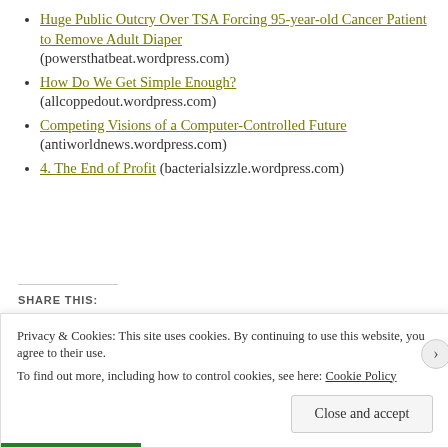Huge Public Outcry Over TSA Forcing 95-year-old Cancer Patient to Remove Adult Diaper (powersthatbeat.wordpress.com)
How Do We Get Simple Enough? (allcoppedout.wordpress.com)
Competing Visions of a Computer-Controlled Future (antiworldnews.wordpress.com)
4. The End of Profit (bacterialsizzle.wordpress.com)
SHARE THIS:
Reddit  Email  Facebook  Pinterest  Pocket  Print  Twitter  Tumblr  LinkedIn
Privacy & Cookies: This site uses cookies. By continuing to use this website, you agree to their use. To find out more, including how to control cookies, see here: Cookie Policy